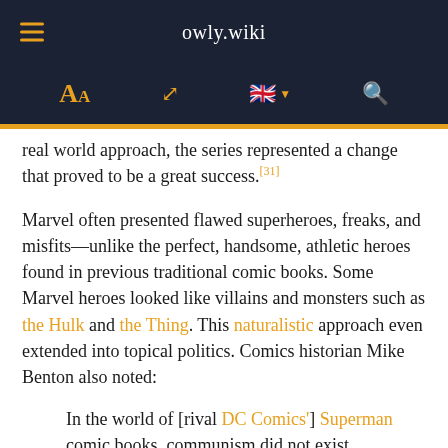owly.wiki
real world approach, the series represented a change that proved to be a great success.[31]
Marvel often presented flawed superheroes, freaks, and misfits—unlike the perfect, handsome, athletic heroes found in previous traditional comic books. Some Marvel heroes looked like villains and monsters such as the Hulk and the Thing. This naturalistic approach even extended into topical politics. Comics historian Mike Benton also noted:
In the world of [rival DC Comics'] Superman comic books, communism did not exist. Superman rarely